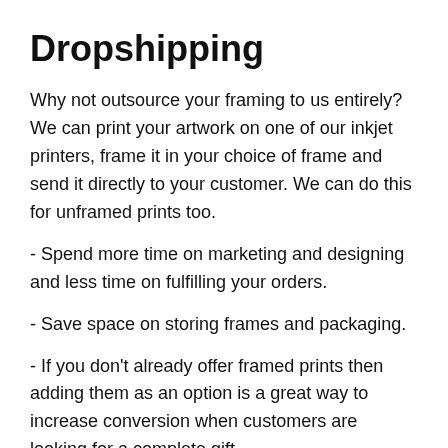Dropshipping
Why not outsource your framing to us entirely? We can print your artwork on one of our inkjet printers, frame it in your choice of frame and send it directly to your customer. We can do this for unframed prints too.
- Spend more time on marketing and designing and less time on fulfilling your orders.
- Save space on storing frames and packaging.
- If you don't already offer framed prints then adding them as an option is a great way to increase conversion when customers are looking for a complete gift.